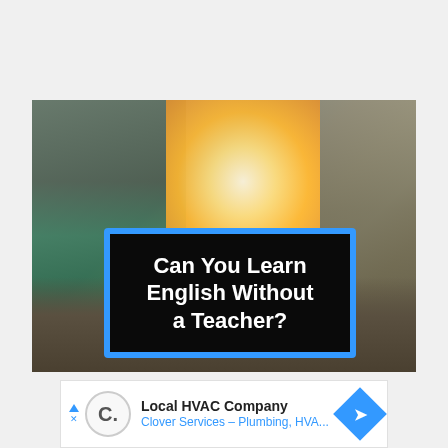[Figure (photo): Urban street scene with two people making peace signs, bright backlight from a doorway/window. Blue-bordered black box overlaid with white bold text reading 'Can You Learn English Without a Teacher?']
Can You Learn English Without a Teacher?
[Figure (infographic): Advertisement bar: Local HVAC Company - Clover Services - Plumbing, HVA... with circular logo and blue navigation arrow diamond]